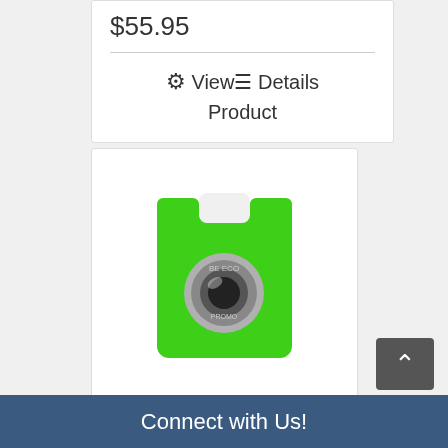$55.95
View Details Product
[Figure (photo): Green customized phone wallet product image with a metallic lens/logo in the center]
Customized Phone Wallets
$5.95 – $4,975.00
Connect with Us!